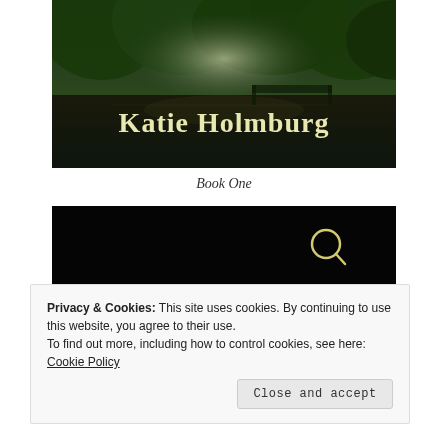[Figure (illustration): Book cover image for 'Katie Holmburg' featuring a dark green park scene with trees, water reflection, and soft light. Large bold yellow-cream text reads 'Katie Holmburg' overlaid on the lower portion of the image.]
Book One
[Figure (illustration): Book cover for 'Book Two of the Seeker Files' with black background and bold yellow-cream uppercase text. A magnifying glass icon appears above the text. A dark red circular motif is visible at the bottom.]
Privacy & Cookies: This site uses cookies. By continuing to use this website, you agree to their use.
To find out more, including how to control cookies, see here: Cookie Policy
Close and accept